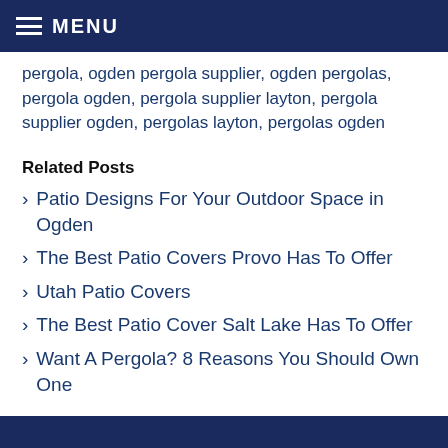MENU
pergola, ogden pergola supplier, ogden pergolas, pergola ogden, pergola supplier layton, pergola supplier ogden, pergolas layton, pergolas ogden
Related Posts
Patio Designs For Your Outdoor Space in Ogden
The Best Patio Covers Provo Has To Offer
Utah Patio Covers
The Best Patio Cover Salt Lake Has To Offer
Want A Pergola? 8 Reasons You Should Own One